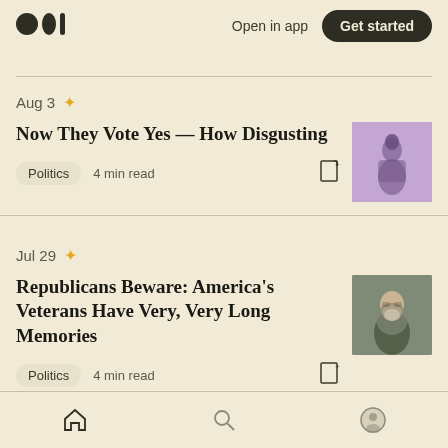Open in app | Get started
Aug 3 ✦
Now They Vote Yes — How Disgusting
Politics  4 min read
Jul 29 ✦
Republicans Beware: America's Veterans Have Very, Very Long Memories
Politics  4 min read
Home | Search | Profile